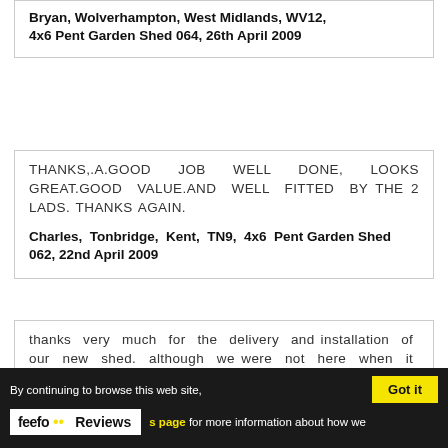Bryan, Wolverhampton, West Midlands, WV12, 4x6 Pent Garden Shed 064, 26th April 2009
THANKS,.A.GOOD JOB WELL DONE, LOOKS GREAT.GOOD VALUE.AND WELL FITTED BY THE 2 LADS. THANKS AGAIN.
Charles, Tonbridge, Kent, TN9, 4x6 Pent Garden Shed 062, 22nd April 2009
thanks very much for the delivery and installation of our new shed. although we were not here when it arrived, your guys managed to get in and put it up, exactly were
By continuing to browse this web site, Got it [page] for more information about how we — feefo Reviews